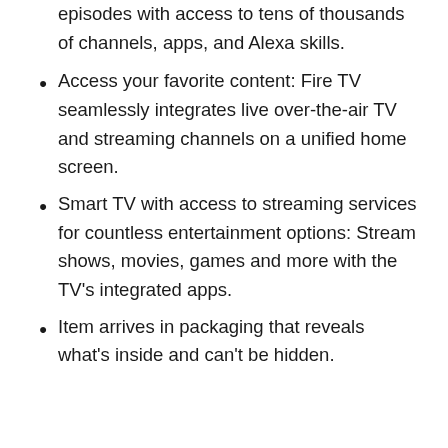episodes with access to tens of thousands of channels, apps, and Alexa skills.
Access your favorite content: Fire TV seamlessly integrates live over-the-air TV and streaming channels on a unified home screen.
Smart TV with access to streaming services for countless entertainment options: Stream shows, movies, games and more with the TV's integrated apps.
Item arrives in packaging that reveals what's inside and can't be hidden.